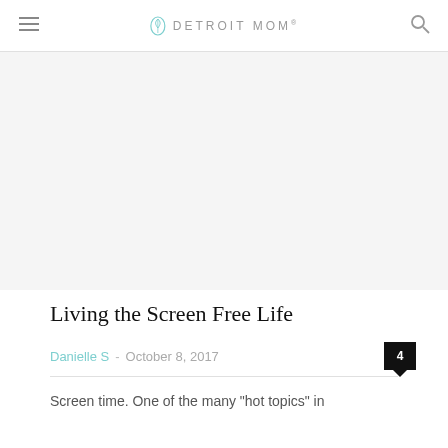DETROIT MOM
[Figure (photo): Large image area placeholder (article header image)]
Living the Screen Free Life
Danielle S - October 8, 2017
Screen time. One of the many "hot topics" in